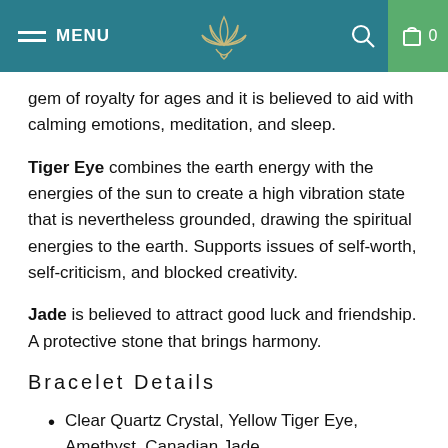MENU | [lotus logo] | [search icon] | 0
gem of royalty for ages and it is believed to aid with calming emotions, meditation, and sleep.
Tiger Eye combines the earth energy with the energies of the sun to create a high vibration state that is nevertheless grounded, drawing the spiritual energies to the earth. Supports issues of self-worth, self-criticism, and blocked creativity.
Jade is believed to attract good luck and friendship. A protective stone that brings harmony.
Bracelet Details
Clear Quartz Crystal, Yellow Tiger Eye, Amethyst, Canadian Jade